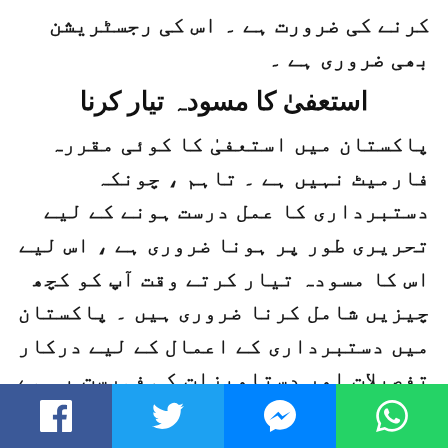کرنے کی ضرورت ہے ۔ اس کی رجسٹریشن بھی ضروری ہے ۔
استعفیٰ کا مسودہ تیار کرنا
پاکستان میں استعفیٰ کا کوئی مقررہ فارمیٹ نہیں ہے ۔ تاہم ، چونکہ دستبرداری کا عمل درست ہونے کے لیے تحریری طور پر ہونا ضروری ہے ، اس لیے اس کا مسودہ تیار کرتے وقت آپ کو کچھ چیزیں شامل کرنا ضروری ہیں ۔ پاکستان میں دستبرداری کے اعمال کے لیے درکار تفصیلات اور دستاویزات کی فہرست یہ ہے
نمبر۱: دستاویز کا عنوان اور اس کی تخلیق کی تاریخ۔